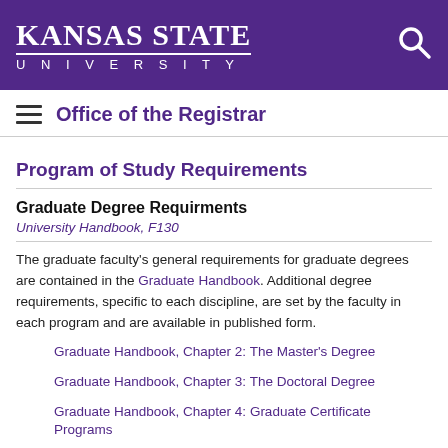KANSAS STATE UNIVERSITY
Office of the Registrar
Program of Study Requirements
Graduate Degree Requirments
University Handbook, F130
The graduate faculty's general requirements for graduate degrees are contained in the Graduate Handbook. Additional degree requirements, specific to each discipline, are set by the faculty in each program and are available in published form.
Graduate Handbook, Chapter 2: The Master's Degree
Graduate Handbook, Chapter 3: The Doctoral Degree
Graduate Handbook, Chapter 4: Graduate Certificate Programs